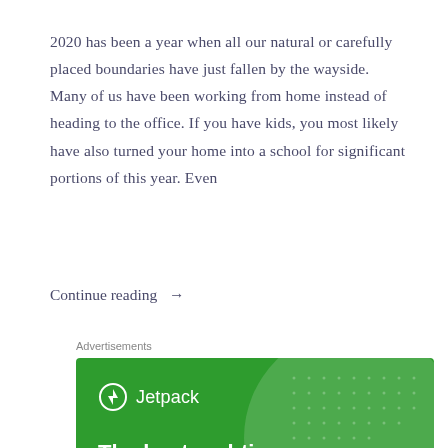2020 has been a year when all our natural or carefully placed boundaries have just fallen by the wayside. Many of us have been working from home instead of heading to the office. If you have kids, you most likely have also turned your home into a school for significant portions of this year. Even
Continue reading →
Advertisements
[Figure (illustration): Jetpack advertisement banner. Green background with a large translucent circle in the upper right. Jetpack logo (lightning bolt in circle) with 'Jetpack' text in top left. Bold white text reads: 'The best real-time WordPress backup plugin']